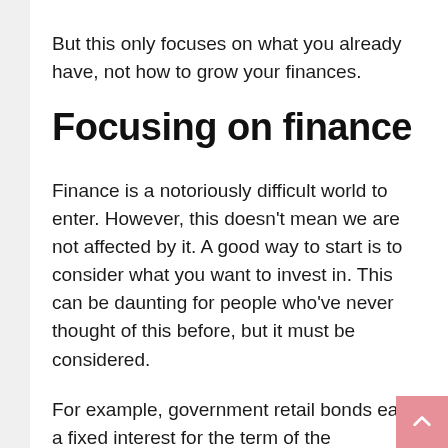But this only focuses on what you already have, not how to grow your finances.
Focusing on finance
Finance is a notoriously difficult world to enter. However, this doesn't mean we are not affected by it. A good way to start is to consider what you want to invest in. This can be daunting for people who've never thought of this before, but it must be considered.
For example, government retail bonds earn a fixed interest for the term of the investment. In South Africa, it offers guaranteed returns. Further, these can be bought for as little as R1